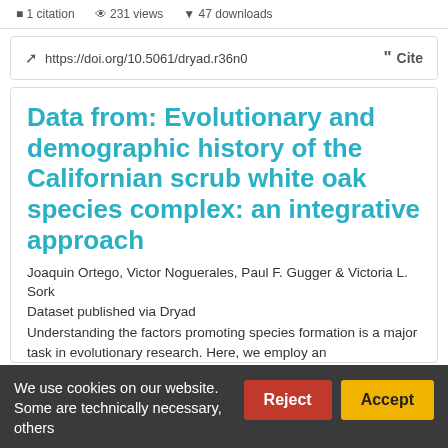1 citation  231 views  47 downloads
https://doi.org/10.5061/dryad.r36n0   Cite
Data from: Evolutionary and demographic history of the Californian scrub white oak species complex: an integrative approach
Joaquin Ortego, Victor Noguerales, Paul F. Gugger & Victoria L. Sork
Dataset published via Dryad
Understanding the factors promoting species formation is a major task in evolutionary research. Here, we employ an
We use cookies on our website. Some are technically necessary, others
Reject
Accept